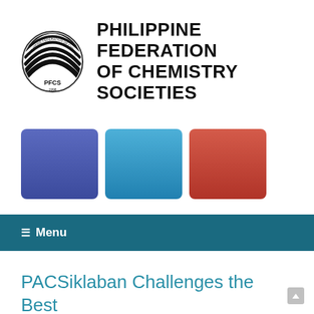[Figure (logo): Philippine Federation of Chemistry Societies (PFCS) circular logo with striped globe design, alongside bold text organization name]
PHILIPPINE FEDERATION OF CHEMISTRY SOCIETIES
[Figure (infographic): Three colored social media button squares: dark blue (Facebook), medium blue (Twitter/X), red (Google+)]
☰  Menu
PACSiklaban Challenges the Best Chemistry Students